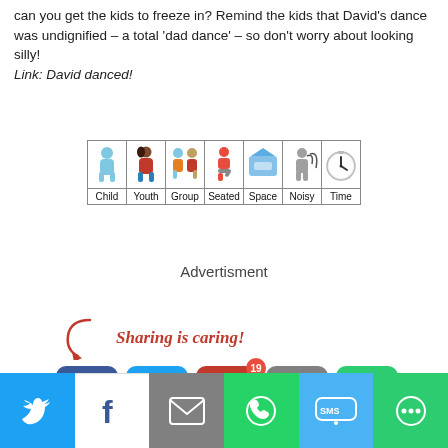can you get the kids to freeze in? Remind the kids that David's dance was undignified – a total 'dad dance' – so don't worry about looking silly!
Link: David danced!
[Figure (table-as-image): Table with icons and labels: Child, Youth, Group, Seated, Space, Noisy, Time]
Advertisment
Sharing is caring!
[Figure (infographic): Social share buttons: Facebook, Twitter, Pinterest (19), Mail, More]
[Figure (infographic): Bottom share bar: Twitter, Facebook, Mail, WhatsApp, SMS, More]